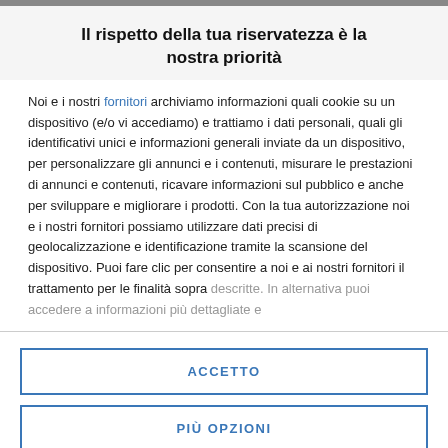Il rispetto della tua riservatezza è la nostra priorità
Noi e i nostri fornitori archiviamo informazioni quali cookie su un dispositivo (e/o vi accediamo) e trattiamo i dati personali, quali gli identificativi unici e informazioni generali inviate da un dispositivo, per personalizzare gli annunci e i contenuti, misurare le prestazioni di annunci e contenuti, ricavare informazioni sul pubblico e anche per sviluppare e migliorare i prodotti. Con la tua autorizzazione noi e i nostri fornitori possiamo utilizzare dati precisi di geolocalizzazione e identificazione tramite la scansione del dispositivo. Puoi fare clic per consentire a noi e ai nostri fornitori il trattamento per le finalità sopra descritte. In alternativa puoi accedere a informazioni più dettagliate e
ACCETTO
PIÙ OPZIONI
You want to fight